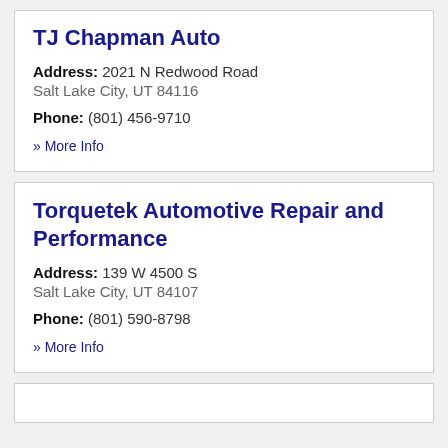TJ Chapman Auto
Address: 2021 N Redwood Road
Salt Lake City, UT 84116
Phone: (801) 456-9710
» More Info
Torquetek Automotive Repair and Performance
Address: 139 W 4500 S
Salt Lake City, UT 84107
Phone: (801) 590-8798
» More Info